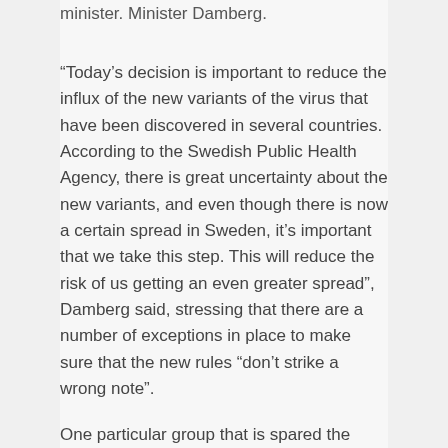minister. Minister Damberg.
“Today’s decision is important to reduce the influx of the new variants of the virus that have been discovered in several countries. According to the Swedish Public Health Agency, there is great uncertainty about the new variants, and even though there is now a certain spread in Sweden, it’s important that we take this step. This will reduce the risk of us getting an even greater spread”, Damberg said, stressing that there are a number of exceptions in place to make sure that the new rules “don’t strike a wrong note”.
One particular group that is spared the